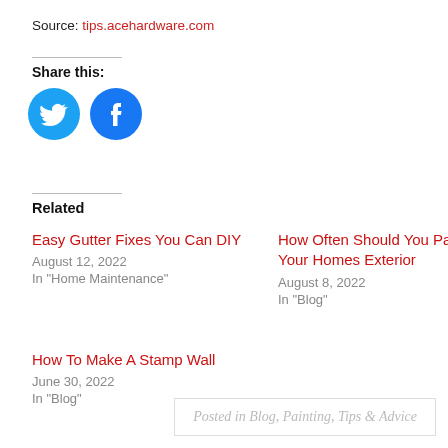Source: tips.acehardware.com
Share this:
[Figure (illustration): Twitter and Facebook social share icon buttons (blue circles with white bird and 'f' logos)]
Related
Easy Gutter Fixes You Can DIY
August 12, 2022
In "Home Maintenance"
How Often Should You Paint Your Homes Exterior
August 8, 2022
In "Blog"
How To Make A Stamp Wall
June 30, 2022
In "Blog"
Posted in Blog, Painting, Tips & Advice